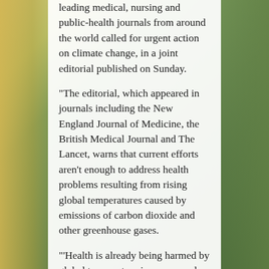leading medical, nursing and public-health journals from around the world called for urgent action on climate change, in a joint editorial published on Sunday.
"The editorial, which appeared in journals including the New England Journal of Medicine, the British Medical Journal and The Lancet, warns that current efforts aren't enough to address health problems resulting from rising global temperatures caused by emissions of carbon dioxide and other greenhouse gases.
"'Health is already being harmed by global temperature increases and the destruction of the natural world,' the journals' editors say in the editorial. If